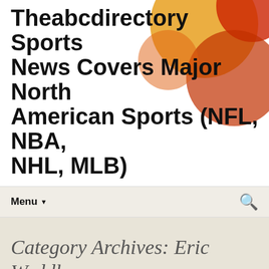Theabcdirectory Sports News Covers Major North American Sports (NFL, NBA, NHL, MLB)
NBA basketball, NFL American Football, Major League Baseball
Menu ▼
Category Archives: Eric Weddle Jersey
Isaiah simmons clemson arizona